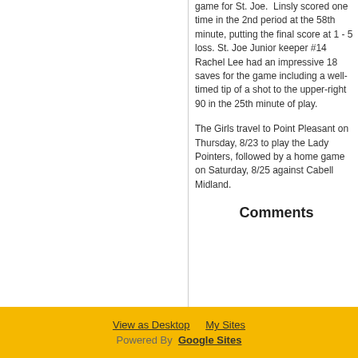game for St. Joe.  Linsly scored one time in the 2nd period at the 58th minute, putting the final score at 1 - 5 loss. St. Joe Junior keeper #14 Rachel Lee had an impressive 18 saves for the game including a well-timed tip of a shot to the upper-right 90 in the 25th minute of play.
The Girls travel to Point Pleasant on Thursday, 8/23 to play the Lady Pointers, followed by a home game on Saturday, 8/25 against Cabell Midland.
Comments
View as Desktop   My Sites
Powered By  Google Sites